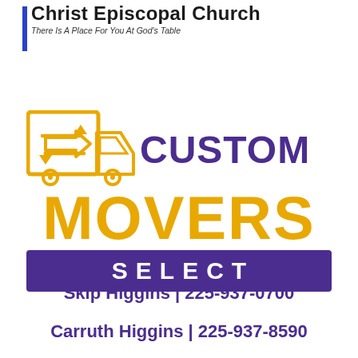[Figure (logo): Christ Episcopal Church logo with blue cross bar and text 'There Is A Place For You At God's Table']
[Figure (logo): Custom Movers Select company logo with yellow truck icon, yellow 'MOVERS' text, purple 'CUSTOM' text, and purple SELECT banner]
Skip Higgins | 225-937-0700
Carruth Higgins | 225-937-8590